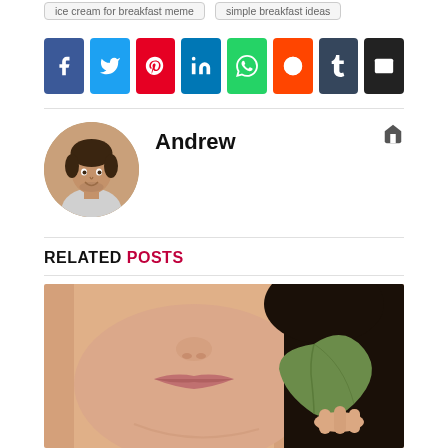ice cream for breakfast meme   simple breakfast ideas
[Figure (other): Social media share buttons: Facebook, Twitter, Pinterest, LinkedIn, WhatsApp, Reddit, Tumblr, Email]
[Figure (photo): Circular avatar photo of a smiling young man with curly hair]
Andrew
RELATED POSTS
[Figure (photo): Close-up photo of a woman holding a green jade gua sha tool against her face/jaw]